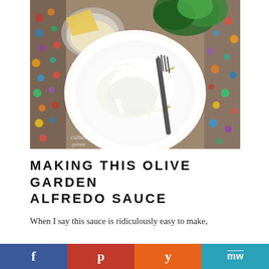[Figure (photo): A white plate of fettuccine pasta with creamy Alfredo sauce and a dark fork, photographed from above on a colorful woven placemat. In the background: a glass bowl of grated Parmesan cheese, a wedge of cheese, and fresh parsley. Watermark reads 'cultured palate' in cursive.]
MAKING THIS OLIVE GARDEN ALFREDO SAUCE
When I say this sauce is ridiculously easy to make,
f  p  y  MW